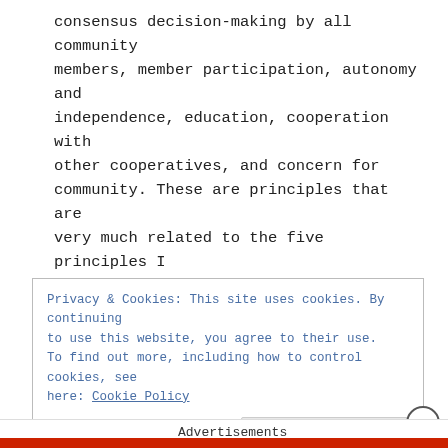consensus decision-making by all community members, member participation, autonomy and independence, education, cooperation with other cooperatives, and concern for community. These are principles that are very much related to the five principles I outline here. Cooperatives are important tools for community building and can strengthen localization efforts by allowing everyone to take part in economics and decisions. Cooperatives also foster tolerance and respect.
Privacy & Cookies: This site uses cookies. By continuing to use this website, you agree to their use. To find out more, including how to control cookies, see here: Cookie Policy
Close and accept
Advertisements